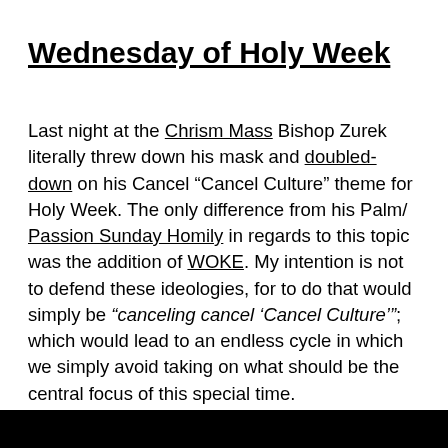Wednesday of Holy Week
Last night at the Chrism Mass Bishop Zurek literally threw down his mask and doubled-down on his Cancel “Cancel Culture” theme for Holy Week. The only difference from his Palm/ Passion Sunday Homily in regards to this topic was the addition of WOKE. My intention is not to defend these ideologies, for to do that would simply be “canceling cancel ‘Cancel Culture’”; which would lead to an endless cycle in which we simply avoid taking on what should be the central focus of this special time.
[Figure (other): Black bar at the bottom of the page]